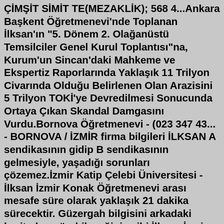ÇİMŞİT SİMİT TE(MEZAKLİK); 568 4...Ankara Başkent Öğretmenevi'nde Toplanan İlksan'ın "5. Dönem 2. Olağanüstü Temsilciler Genel Kurul Toplantısı"na, Kurum'un Sincan'daki Mahkeme ve Ekspertiz Raporlarında Yaklaşık 11 Trilyon Civarında Olduğu Belirlenen Olan Arazisini 5 Trilyon TOKİ'ye Devredilmesi Sonucunda Ortaya Çıkan Skandal Damgasını Vurdu.Bornova Öğretmenevi - (023 347 43... - BORNOVA / İZMİR firma bilgileri İLKSAN A sendikasının gidip B sendikasının gelmesiyle, yaşadığı sorunları çözemez.İzmir Katip Çelebi Üniversitesi - İlksan İzmir Konak Öğretmenevi arası mesafe süre olarak yaklaşık 21 dakika sürecektir. Güzergah bilgisini arkadaki haritadan görebileceğiniz gibi İlksan İzmir Konak Öğretmenevi ulaşımı için detaylı bilgiye YOL TARİFİ 'ne tıklayarak da ulaşabilirsiniz. Ayrıca ilçelerde bulunan öğretmen evlerinden biri olan Sincan ilçesinde bulunan Sincan Öğretmenevi ile iletişime geçmek için (0312) 276 59 60 numarasını kullanabilir ve bu numara ile gerekli kişilerle iletişim kurabilirsiniz. Bu